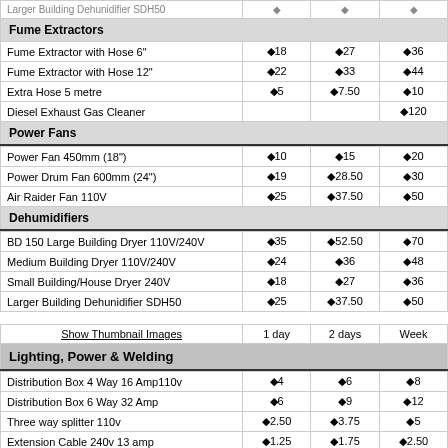|  | 1 day | 2 days | Week |
| --- | --- | --- | --- |
| Fume Extractors |  |  |  |
| Fume Extractor with Hose 6" | ◆18 | ◆27 | ◆36 |
| Fume Extractor with Hose 12" | ◆22 | ◆33 | ◆44 |
| Extra Hose 5 metre | ◆5 | ◆7.50 | ◆10 |
| Diesel Exhaust Gas Cleaner |  |  | ◆120 |
| Power Fans |  |  |  |
| Power Fan 450mm (18") | ◆10 | ◆15 | ◆20 |
| Power Drum Fan 600mm (24") | ◆19 | ◆28.50 | ◆30 |
| Air Raider Fan 110V | ◆25 | ◆37.50 | ◆50 |
| Dehumidifiers |  |  |  |
| BD 150 Large Building Dryer 110V/240V | ◆35 | ◆52.50 | ◆70 |
| Medium Building Dryer 110V/240V | ◆24 | ◆36 | ◆48 |
| Small Building/House Dryer 240V | ◆18 | ◆27 | ◆36 |
| Larger Building Dehunidifier SDH50 | ◆25 | ◆37.50 | ◆50 |
| Show Thumbnail Images | 1 day | 2 days | Week |
| Lighting, Power & Welding |  |  |  |
| Distribution Box 4 Way 16 Amp110v | ◆4 | ◆6 | ◆8 |
| Distribution Box 6 Way 32 Amp | ◆6 | ◆9 | ◆12 |
| Three way splitter 110v | ◆2.50 | ◆3.75 | ◆5 |
| Extension Cable 240v 13 amp | ◆1.25 | ◆1.75 | ◆2.50 |
| Extension cable 110v 14 m ,1.5mm | ◆1.25 | ◆1.75 | ◆2.50 |